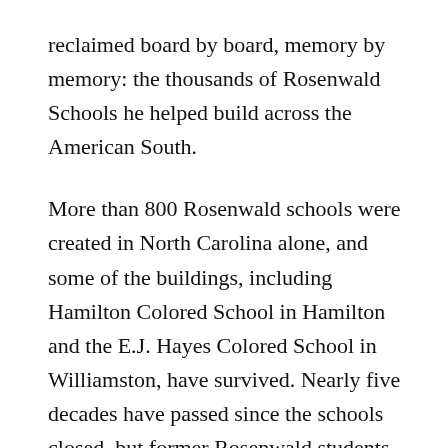reclaimed board by board, memory by memory: the thousands of Rosenwald Schools he helped build across the American South.
More than 800 Rosenwald schools were created in North Carolina alone, and some of the buildings, including Hamilton Colored School in Hamilton and the E.J. Hayes Colored School in Williamston, have survived. Nearly five decades have passed since the schools closed, but former Rosenwald students have formed a movement to preserve the structures and document their history. The effort is providing rural communities with space for reflection and congregation; it also recalls a time when many rural African-Americans saw education as a precious opportunity.